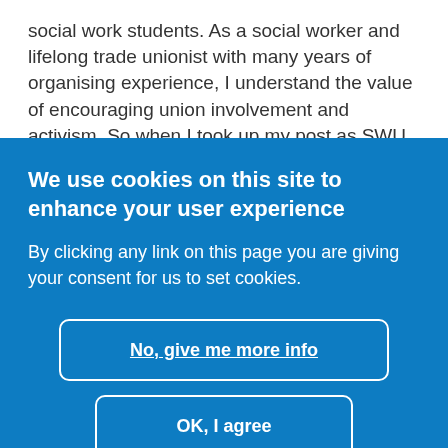social work students.  As a social worker and lifelong trade unionist with many years of organising experience, I understand the value of encouraging union involvement and activism. So when I took up my post as SWU National Organiser in January 2018, the Union Contact Scheme was born.
We use cookies on this site to enhance your user experience
By clicking any link on this page you are giving your consent for us to set cookies.
No, give me more info
OK, I agree